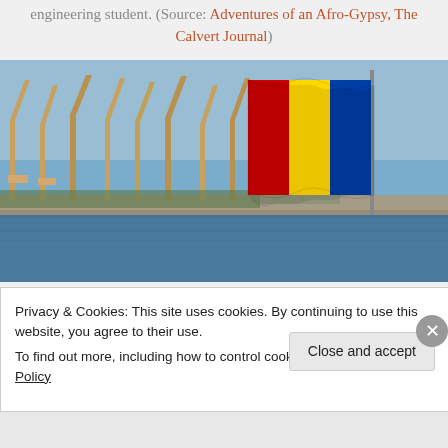engineering student. (Source: Adventures of an Afro-Gypsy, The Calvert Journal)
[Figure (photo): A harbor scene with port cranes in the background and a Romanian/Chadian tricolor flag (blue, yellow, red vertical stripes) flying prominently on the right side, over a body of water.]
Privacy & Cookies: This site uses cookies. By continuing to use this website, you agree to their use.
To find out more, including how to control cookies, see here: Cookie Policy